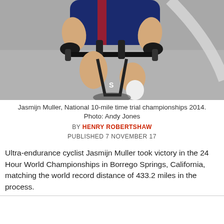[Figure (photo): Close-up photo of a cyclist (Jasmijn Muller) on a time trial bike, viewed from the front, wearing a blue/red cycling skinsuit. The handlebar, brake levers, and rider's legs are prominent. Background is a blurred road surface.]
Jasmijn Muller, National 10-mile time trial championships 2014. Photo: Andy Jones
BY HENRY ROBERTSHAW
PUBLISHED 7 NOVEMBER 17
Ultra-endurance cyclist Jasmijn Muller took victory in the 24 Hour World Championships in Borrego Springs, California, matching the world record distance of 433.2 miles in the process.